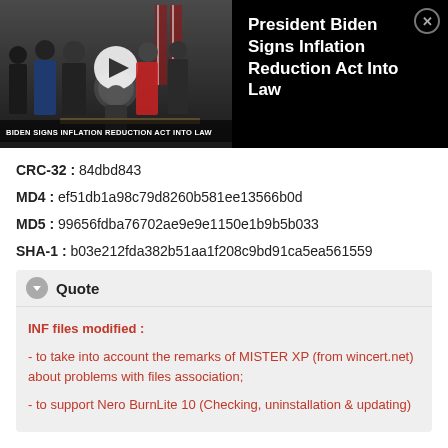[Figure (screenshot): Video thumbnail showing President Biden signing the Inflation Reduction Act with officials gathered around, with a chyron reading 'BIDEN SIGNS INFLATION REDUCTION ACT INTO LAW'. Overlay panel shows title 'President Biden Signs Inflation Reduction Act Into Law' on black background with a close button.]
CRC-32 : 84dbd843
MD4 : ef51db1a98c79d8260b581ee13566b0d
MD5 : 99656fdba76702ae9e9e1150e1b9b5b033
SHA-1 : b03e212fda382b51aa1f208c9bd91ca5ea561559
Quote
INF files modified :
- to take into account the remarks of MISTER XP (from wincert.net) about problems with files association;
- to support Nero BurnLite 10 (Checking, uninstallation & updating)